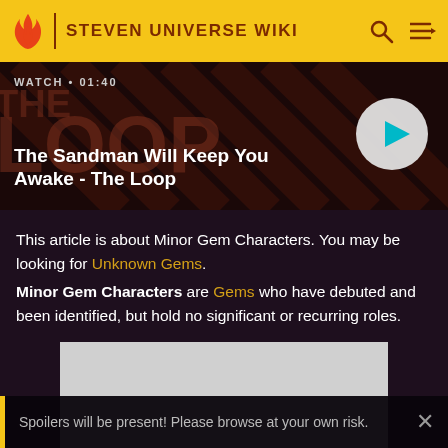STEVEN UNIVERSE WIKI
[Figure (screenshot): Video thumbnail for 'The Sandman Will Keep You Awake - The Loop' with WATCH • 01:40 label and play button]
This article is about Minor Gem Characters. You may be looking for Unknown Gems.
Minor Gem Characters are Gems who have debuted and been identified, but hold no significant or recurring roles.
[Figure (other): Advertisement placeholder (gray rectangle)]
Spoilers will be present! Please browse at your own risk.